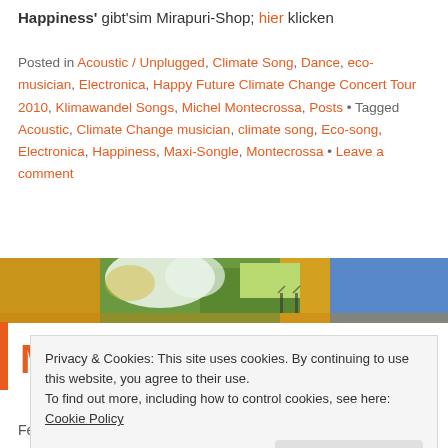Happiness' gibt'sim Mirapuri-Shop; hier klicken
Posted in Acoustic / Unplugged, Climate Song, Dance, eco-musician, Electronica, Happy Future Climate Change Concert Tour 2010, Klimawandel Songs, Michel Montecrossa, Posts • Tagged Acoustic, Climate Change musician, climate song, Eco-song, Electronica, Happiness, Maxi-Songle, Montecrossa • Leave a comment
[Figure (photo): Painted landscape banner with yellow, orange, green and blue tones, showing abstract nature scene with figures]
Michel Montecrossa –
Privacy & Cookies: This site uses cookies. By continuing to use this website, you agree to their use.
To find out more, including how to control cookies, see here: Cookie Policy
Close and accept
Festival 2010 – the concerts at the festival will continue